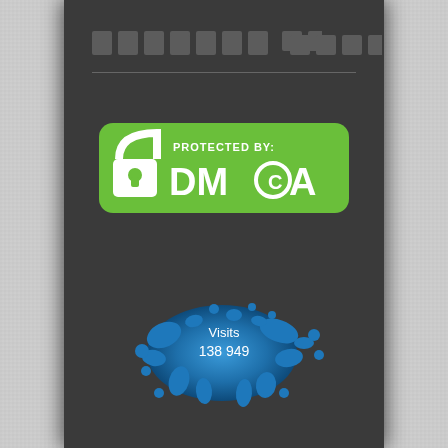▓▓▓▓▓▓▓ ▓▓▓▓▓
[Figure (logo): DMCA Protected badge with green rounded rectangle background, white lock icon on left, text 'PROTECTED BY:' above 'DMCA' with copyright circle in O]
[Figure (infographic): Blue paint splash/splatter graphic with centered text showing 'Visits' and count '138 949']